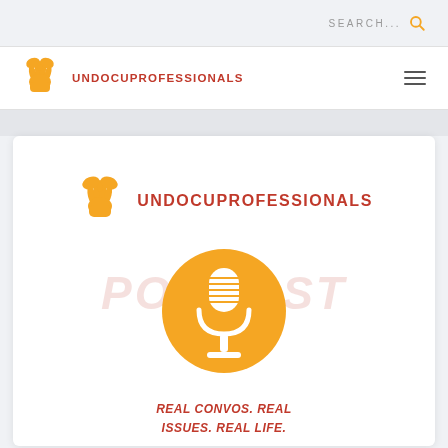SEARCH...
[Figure (logo): UndocuProfessionals logo in nav bar: orange hands holding butterfly, red bold text UNDOCUPROFESSIONALS]
[Figure (logo): UndocuProfessionals Podcast logo: orange hands with butterfly above orange circle with microphone, red text UNDOCUPROFESSIONALS, large italic red transparent text PODCAST, tagline REAL CONVOS. REAL ISSUES. REAL LIFE.]